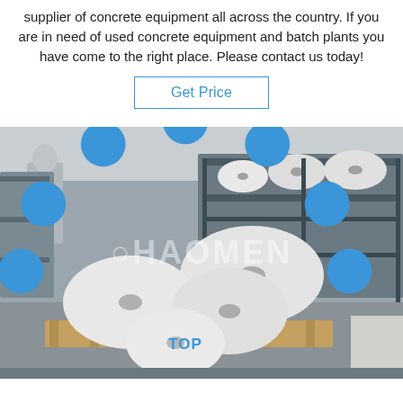supplier of concrete equipment all across the country. If you are in need of used concrete equipment and batch plants you have come to the right place. Please contact us today!
Get Price
[Figure (photo): Warehouse photo showing large rolls of white material (likely geotextile or filter fabric) stacked on wooden pallets, with metal shelving racks in the background holding more rolls. A worker in white clothing is visible at the right edge. A watermark reading 'HAOMEN' is overlaid in white, and a blue 'TOP' badge with dot arc appears at the bottom right.]